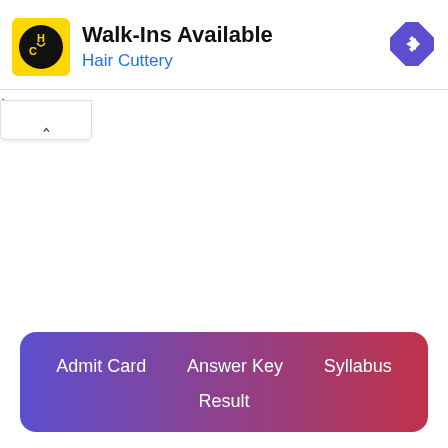[Figure (screenshot): Hair Cuttery advertisement banner with yellow HC logo, 'Walk-Ins Available' heading, 'Hair Cuttery' subtitle in blue, and a blue navigation arrow icon in the top right]
[Figure (screenshot): Collapse/accordion tab with an up caret symbol]
[Figure (infographic): Gradient navigation bar (purple to red) with four white text links: Admit Card, Answer Key, Syllabus, Result]